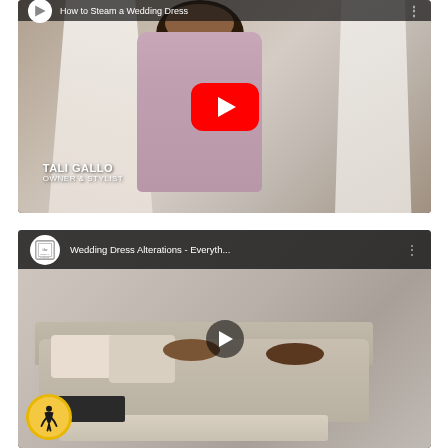[Figure (screenshot): YouTube video thumbnail showing a woman in pink holding a steamer next to wedding dresses, with YouTube play button overlay. Title: 'How to Steam a Wedding Dress'. Name overlay: TALI GALLO, OWNER & STYLIST.]
[Figure (screenshot): YouTube video thumbnail showing two women laughing on a sofa in a bridal shop. Title: 'Wedding Dress Alterations - Everyth...' with Bridal Finery channel logo. Accessibility icon visible in bottom-left corner.]